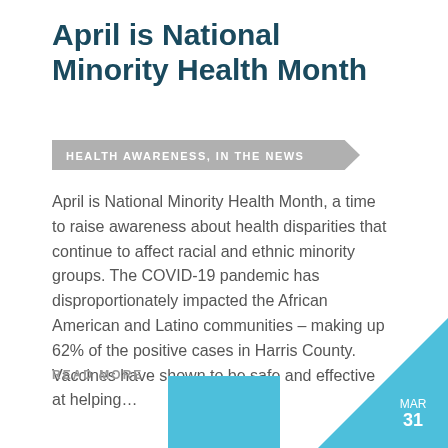April is National Minority Health Month
HEALTH AWARENESS, IN THE NEWS
April is National Minority Health Month, a time to raise awareness about health disparities that continue to affect racial and ethnic minority groups. The COVID-19 pandemic has disproportionately impacted the African American and Latino communities – making up 62% of the positive cases in Harris County. Vaccines have shown to be safe and effective at helping…
READ MORE